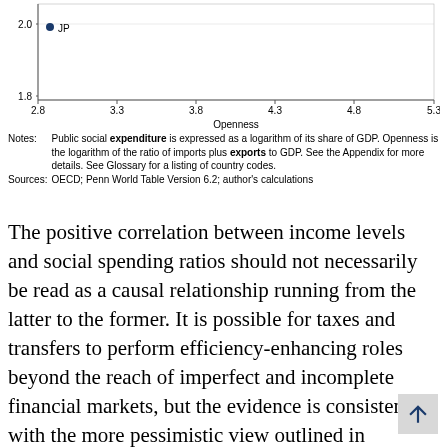[Figure (continuous-plot): Scatter plot (partial, top portion visible) showing Openness on x-axis (2.8 to 5.3) and a y-axis with values around 1.8–2.0. A single labeled point 'JP' is visible at approximately x=2.87, y=1.98.]
Notes:   Public social expenditure is expressed as a logarithm of its share of GDP. Openness is the logarithm of the ratio of imports plus exports to GDP. See the Appendix for more details. See Glossary for a listing of country codes.
Sources:  OECD; Penn World Table Version 6.2; author's calculations
The positive correlation between income levels and social spending ratios should not necessarily be read as a causal relationship running from the latter to the former. It is possible for taxes and transfers to perform efficiency-enhancing roles beyond the reach of imperfect and incomplete financial markets, but the evidence is consistent with the more pessimistic view outlined in Section 2.1. That is, if countries are exogenously different in their ability to produce income at the aggregate level and the negative side-effects of social policy are less serious for countries that are